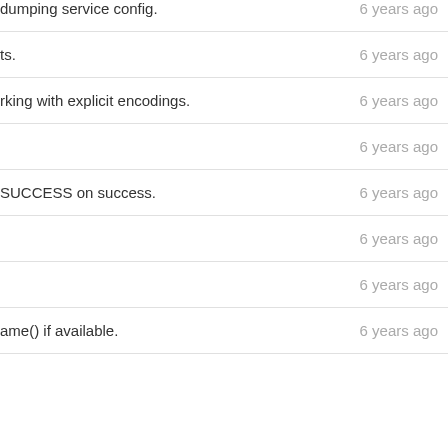| Description | Age |
| --- | --- |
| dumping service config. | 6 years ago |
| ts. | 6 years ago |
| rking with explicit encodings. | 6 years ago |
|  | 6 years ago |
| SUCCESS on success. | 6 years ago |
|  | 6 years ago |
|  | 6 years ago |
| ame() if available. | 6 years ago |